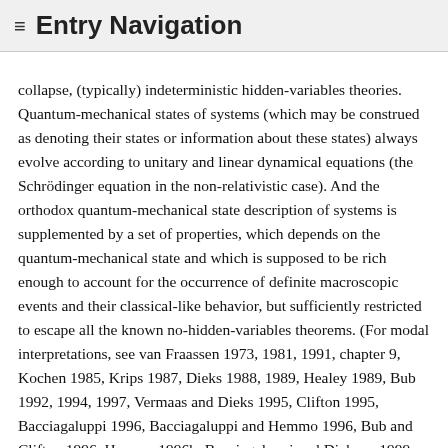≡ Entry Navigation
collapse, (typically) indeterministic hidden-variables theories. Quantum-mechanical states of systems (which may be construed as denoting their states or information about these states) always evolve according to unitary and linear dynamical equations (the Schrödinger equation in the non-relativistic case). And the orthodox quantum-mechanical state description of systems is supplemented by a set of properties, which depends on the quantum-mechanical state and which is supposed to be rich enough to account for the occurrence of definite macroscopic events and their classical-like behavior, but sufficiently restricted to escape all the known no-hidden-variables theorems. (For modal interpretations, see van Fraassen 1973, 1981, 1991, chapter 9, Kochen 1985, Krips 1987, Dieks 1988, 1989, Healey 1989, Bub 1992, 1994, 1997, Vermaas and Dieks 1995, Clifton 1995, Bacciagaluppi 1996, Bacciagaluppi and Hemmo 1996, Bub and Clifton 1996, Hemmo 1996b, Bacciagaluppi and Dickson 1999, Clifton 2000, Spekkens and Sipe 2001a,b, Bene and Dieks 2002, and Berkovitz and Hemmo 2006a,b. For an